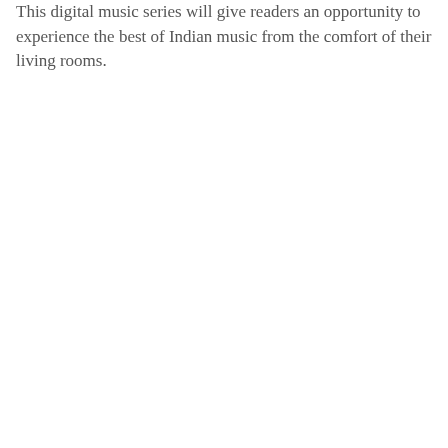This digital music series will give readers an opportunity to experience the best of Indian music from the comfort of their living rooms.